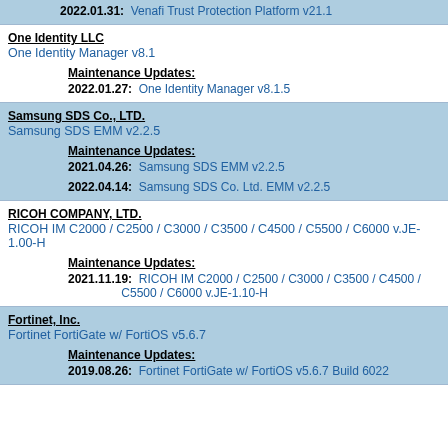2022.01.31: Venafi Trust Protection Platform v21.1
One Identity LLC
One Identity Manager v8.1
Maintenance Updates:
2022.01.27: One Identity Manager v8.1.5
Samsung SDS Co., LTD.
Samsung SDS EMM v2.2.5
Maintenance Updates:
2021.04.26: Samsung SDS EMM v2.2.5
2022.04.14: Samsung SDS Co. Ltd. EMM v2.2.5
RICOH COMPANY, LTD.
RICOH IM C2000 / C2500 / C3000 / C3500 / C4500 / C5500 / C6000 v.JE-1.00-H
Maintenance Updates:
2021.11.19: RICOH IM C2000 / C2500 / C3000 / C3500 / C4500 / C5500 / C6000 v.JE-1.10-H
Fortinet, Inc.
Fortinet FortiGate w/ FortiOS v5.6.7
Maintenance Updates:
2019.08.26: Fortinet FortiGate w/ FortiOS v5.6.7 Build 6022